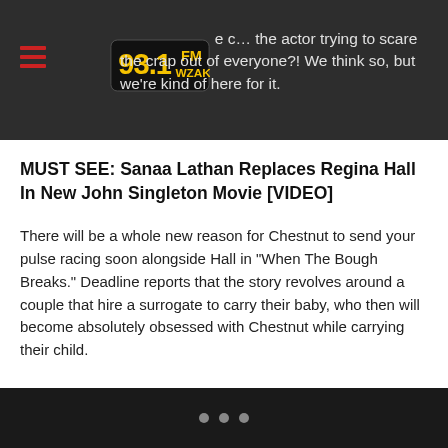...the c... actor trying to scare the crap out of everyone?! We think so, but we're kind of here for it.
MUST SEE: Sanaa Lathan Replaces Regina Hall In New John Singleton Movie [VIDEO]
There will be a whole new reason for Chestnut to send your pulse racing soon alongside Hall in “When The Bough Breaks.” Deadline reports that the story revolves around a couple that hire a surrogate to carry their baby, who then will become absolutely obsessed with Chestnut while carrying their child.
• • •